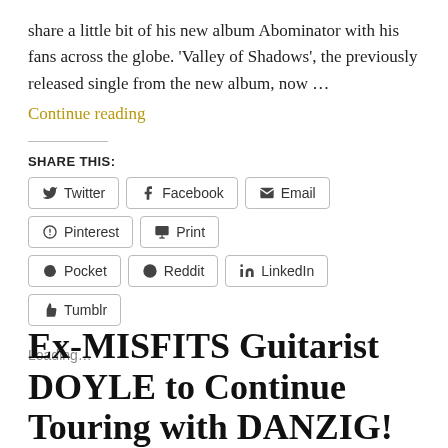share a little bit of his new album Abominator with his fans across the globe. 'Valley of Shadows', the previously released single from the new album, now …
Continue reading
SHARE THIS:
Twitter  Facebook  Email  Pinterest  Print  Pocket  Reddit  LinkedIn  Tumblr
Loading…
Ex-MISFITS Guitarist DOYLE to Continue Touring with DANZIG!